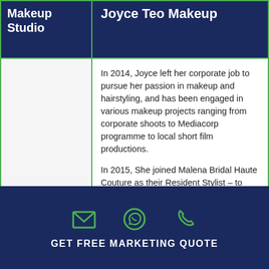Makeup Studio
Joyce Teo Makeup
In 2014, Joyce left her corporate job to pursue her passion in makeup and hairstyling, and has been engaged in various makeup projects ranging from corporate shoots to Mediacorp programme to local short film productions.
In 2015, She joined Malena Bridal Haute Couture as their Resident Stylist – to design hair and makeup looks for their brides; and have garnered rave reviews online.
Joyce is trained in both soft bridal looks/Korean Japanese style)
Speciality
GET FREE MARKETING QUOTE